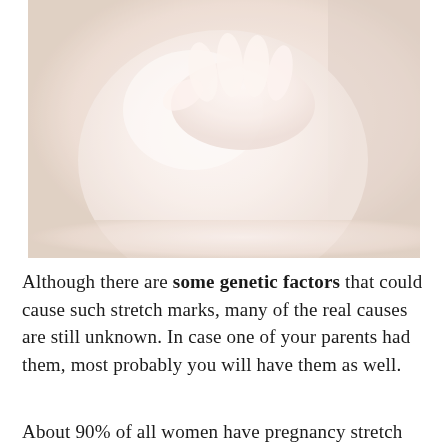[Figure (photo): A faded, washed-out close-up photograph of a pregnant woman's belly with a hand resting on it, shown in very pale pinkish-white tones.]
Although there are some genetic factors that could cause such stretch marks, many of the real causes are still unknown. In case one of your parents had them, most probably you will have them as well.
About 90% of all women have pregnancy stretch